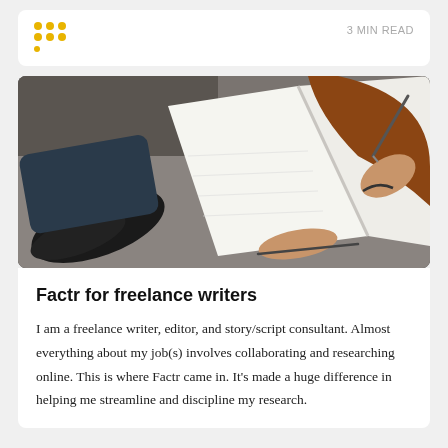[Figure (logo): Yellow dot grid logo (Factr branding) on left, '3 MIN READ' text label on right]
3 MIN READ
[Figure (photo): Overhead photo of a person writing in an open notebook on a desk, wearing a brown sleeve with a bracelet, with sneakers visible in the lower left corner]
Factr for freelance writers
I am a freelance writer, editor, and story/script consultant. Almost everything about my job(s) involves collaborating and researching online. This is where Factr came in. It's made a huge difference in helping me streamline and discipline my research.